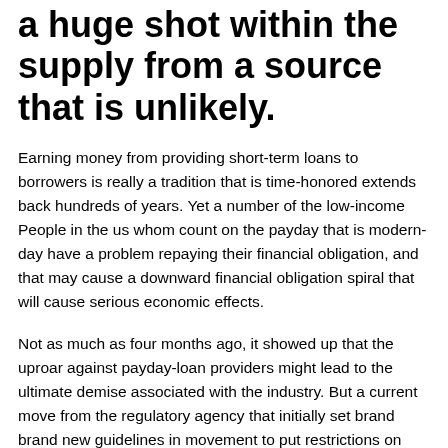a huge shot within the supply from a source that is unlikely.
Earning money from providing short-term loans to borrowers is really a tradition that is time-honored extends back hundreds of years. Yet a number of the low-income People in the us whom count on the payday that is modern-day have a problem repaying their financial obligation, and that may cause a downward financial obligation spiral that will cause serious economic effects.
Not as much as four months ago, it showed up that the uproar against payday-loan providers might lead to the ultimate demise associated with the industry. But a current move from the regulatory agency that initially set brand brand new guidelines in movement to put restrictions on payday loan providers has signaled alternatively that the industry will probably have a unique rent on life. That may place the onus back on people who remove pay day loans